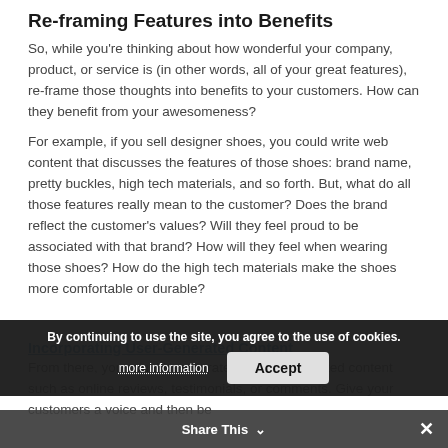Re-framing Features into Benefits
So, while you're thinking about how wonderful your company, product, or service is (in other words, all of your great features), re-frame those thoughts into benefits to your customers. How can they benefit from your awesomeness?
For example, if you sell designer shoes, you could write web content that discusses the features of those shoes: brand name, pretty buckles, high tech materials, and so forth. But, what do all those features really mean to the customer? Does the brand reflect the customer's values? Will they feel proud to be associated with that brand? How will they feel when wearing those shoes? How do the high tech materials make the shoes more comfortable or durable?
Incorporating User-Generated Content
From there, you could incorporate user-generated content such as online reviews, testimonials, or comments. Give your customers a voice and then be
By continuing to use the site, you agree to the use of cookies.
more information
Accept
Share This